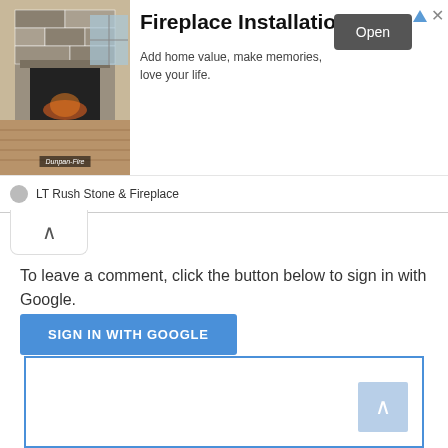[Figure (screenshot): Advertisement banner for 'Fireplace Installation' by LT Rush Stone & Fireplace. Contains a photo of a stone fireplace, headline 'Fireplace Installation', description text 'Add home value, make memories, love your life.', and an 'Open' button.]
To leave a comment, click the button below to sign in with Google.
SIGN IN WITH GOOGLE
[Figure (screenshot): Lower advertisement box with blue border. Contains a 'back to top' button (light blue with up arrow) in the bottom-right corner.]